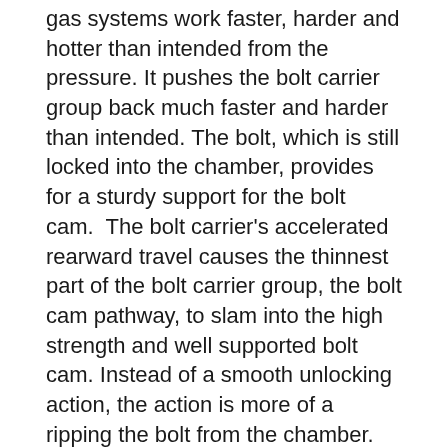gas systems work faster, harder and hotter than intended from the pressure. It pushes the bolt carrier group back much faster and harder than intended. The bolt, which is still locked into the chamber, provides for a sturdy support for the bolt cam.  The bolt carrier's accelerated rearward travel causes the thinnest part of the bolt carrier group, the bolt cam pathway, to slam into the high strength and well supported bolt cam. Instead of a smooth unlocking action, the action is more of a ripping the bolt from the chamber. The energy is moving to the path of least resistance.
Under enough load this might cause damage or in some cases failure of the bolt carrier group in and around the bolt cam pathway. Imagine not using the clutch in a car to change gears.  It is the poorly integrated suppressor that causes the load to exceed the engineering of the system. Like I said